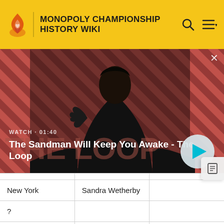MONOPOLY CHAMPIONSHIP HISTORY WIKI
[Figure (screenshot): Video thumbnail showing a dark-cloaked figure with a raven on shoulder against a red diagonal striped background. Text overlay: WATCH · 01:40, The Sandman Will Keep You Awake - The Loop. Play button visible.]
| New York | Sandra Wetherby |  |
| ? |  |  |
| ? |  |  |